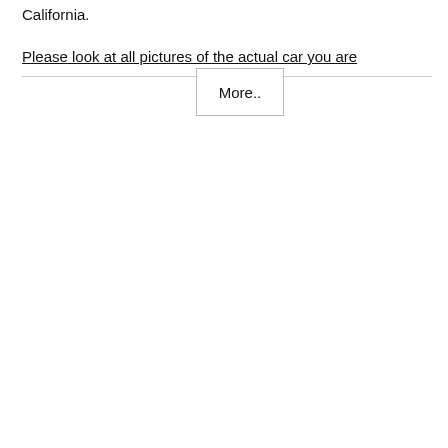California.
Please look at all pictures of the actual car you are
More..